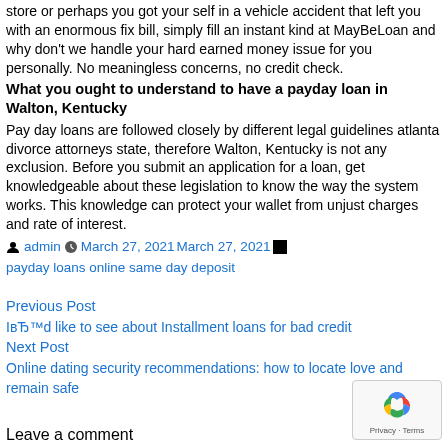store or perhaps you got your self in a vehicle accident that left you with an enormous fix bill, simply fill an instant kind at MayBeLoan and why don't we handle your hard earned money issue for you personally. No meaningless concerns, no credit check.
What you ought to understand to have a payday loan in Walton, Kentucky
Pay day loans are followed closely by different legal guidelines atlanta divorce attorneys state, therefore Walton, Kentucky is not any exclusion. Before you submit an application for a loan, get knowledgeable about these legislation to know the way the system works. This knowledge can protect your wallet from unjust charges and rate of interest.
admin March 27, 2021March 27, 2021 payday loans online same day deposit
Previous Post
IвЂ™d like to see about Installment loans for bad credit
Next Post
Online dating security recommendations: how to locate love and remain safe
Leave a comment
Your email address will not be published. Required fields are m